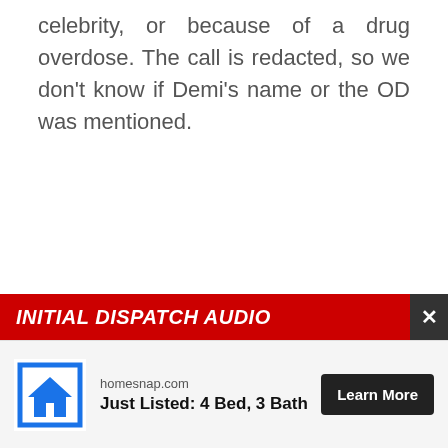celebrity, or because of a drug overdose. The call is redacted, so we don't know if Demi's name or the OD was mentioned.
INITIAL DISPATCH AUDIO
[Figure (other): Advertisement banner: homesnap.com - Just Listed: 4 Bed, 3 Bath with Learn More button and house logo]